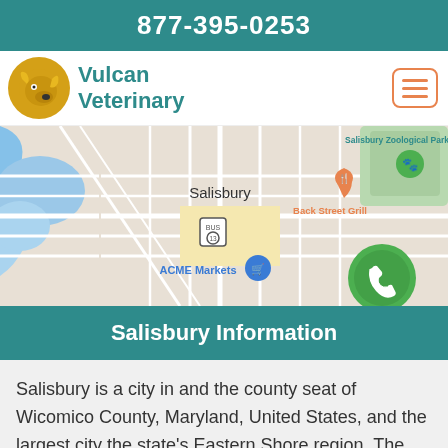877-395-0253
Vulcan Veterinary
[Figure (map): Google Maps view of Salisbury, MD showing Salisbury Zoological Park, Back Street Grill, ACME Markets, and a green phone call button overlay]
Salisbury Information
Salisbury is a city in and the county seat of Wicomico County, Maryland, United States, and the largest city the state's Eastern Shore region. The population was